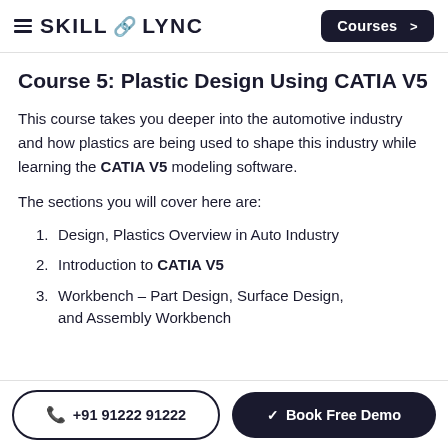SKILL-LYNC | Courses >
Course 5: Plastic Design Using CATIA V5
This course takes you deeper into the automotive industry and how plastics are being used to shape this industry while learning the CATIA V5 modeling software.
The sections you will cover here are:
1. Design, Plastics Overview in Auto Industry
2. Introduction to CATIA V5
3. Workbench – Part Design, Surface Design, and Assembly Workbench
+91 91222 91222 | Book Free Demo